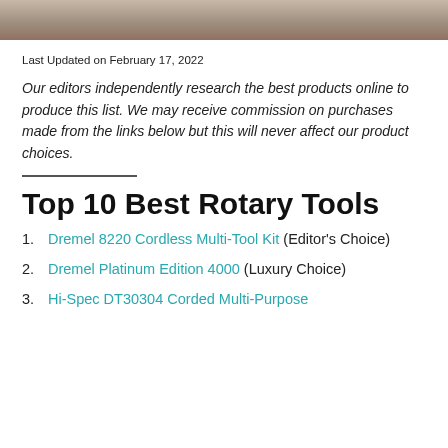[Figure (photo): Cropped bottom edge of a photo showing a tool or similar object, brownish tones.]
Last Updated on February 17, 2022
Our editors independently research the best products online to produce this list. We may receive commission on purchases made from the links below but this will never affect our product choices.
Top 10 Best Rotary Tools
Dremel 8220 Cordless Multi-Tool Kit (Editor's Choice)
Dremel Platinum Edition 4000 (Luxury Choice)
Hi-Spec DT30304 Corded Multi-Purpose